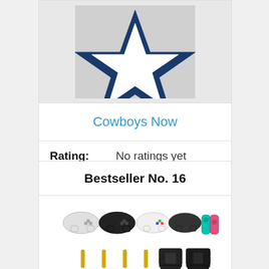[Figure (logo): Dallas Cowboys star logo — navy blue five-pointed star outline on light gray background]
Cowboys Now
Rating: No ratings yet
Check on Amazon
Bestseller No. 16
[Figure (photo): Product image showing multiple game controllers (PS4, Xbox, Switch Joy-Con) above black wall-mount controller holder stands with gold screws and adhesive strips]